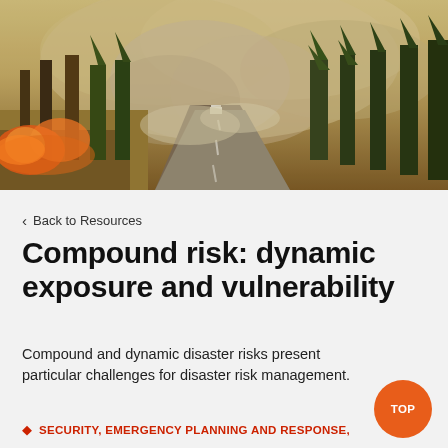[Figure (photo): A wildfire burning along a forest road with heavy smoke, orange flames on the left side, and a vehicle visible in the distance on the road surrounded by burning trees.]
< Back to Resources
Compound risk: dynamic exposure and vulnerability
Compound and dynamic disaster risks present particular challenges for disaster risk management.
SECURITY, EMERGENCY PLANNING AND RESPONSE,